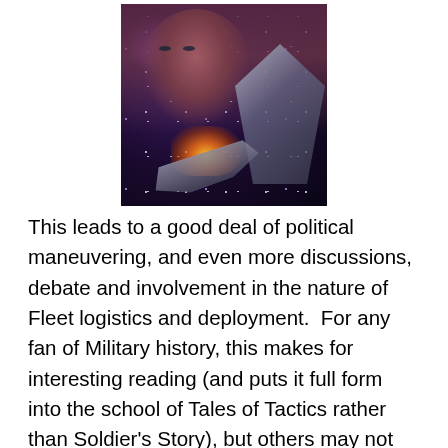[Figure (illustration): Science fiction book cover art showing a woman's face against a starfield background with a large spacecraft and explosion in the foreground]
This leads to a good deal of political maneuvering, and even more discussions, debate and involvement in the nature of Fleet logistics and deployment.  For any fan of Military history, this makes for interesting reading (and puts it full form into the school of Tales of Tactics rather than Soldier's Story), but others may not be so readily engaged.  Fortunately, this political and logistical wrangling is nicely balanced with both personal and naval combat